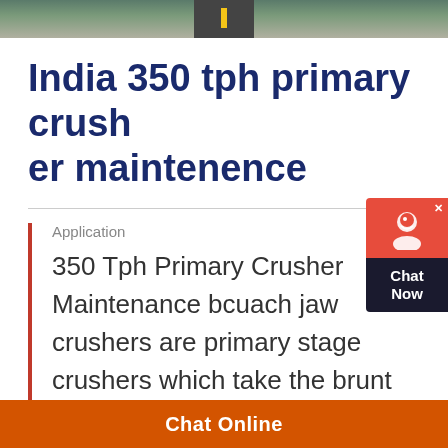[Figure (photo): Top banner image showing a road with greenery, partially visible]
India 350 tph primary crusher maintenence
Application
350 Tph Primary Crusher Maintenance bcuach jaw crushers are primary stage crushers which take the brunt of rocks we manufacture jaw crushers that are suitable
Chat Online